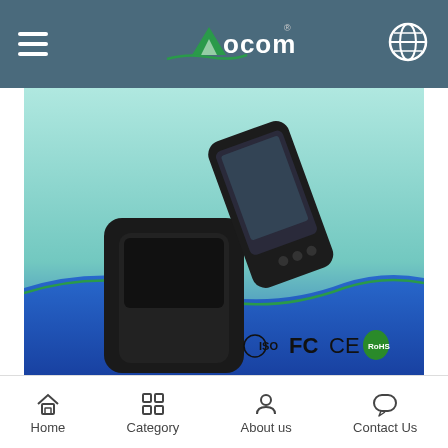AOCOM (navigation bar with logo)
[Figure (photo): POS terminal device (handheld black device) on a blue-green gradient background with ISO, FC, CE, RoHS certification logos in the bottom right corner.]
ABOUT US:
OCOM is a leading One-stop POS and Auto-ID Related Products Supplier which is qualified by Global Fortune 500 company. We have Top 1 level Trade Assurance guarantee.

OCOM's products portfolio covers Thermal Printer, Barcode Printer, DOT Matrix Printer,
Home   Category   About us   Contact Us